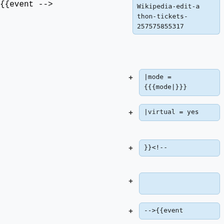Wikipedia-edit-a-thon-tickets-257575855317
|mode = {{{mode|}}}
|virtual = yes
}}<!--
-->{{event
|month = March
|day = 31
|year = 2022
|dow = Thursday
|title = Smithsonian National Museum of Natural History